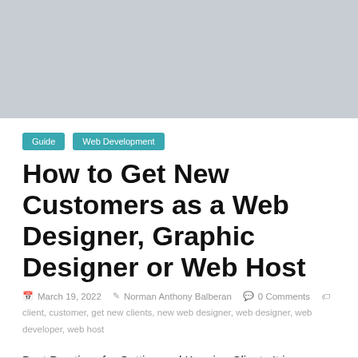[Figure (photo): Light grey placeholder hero image banner at top of article page]
Guide
Web Development
How to Get New Customers as a Web Designer, Graphic Designer or Web Host
March 19, 2022   Norman Anthony Balberan   0 Comments
client, customer, get new clients, new web designer, web designer, web developer, web host
Best Practices for Getting and Keeping Clients It is sometimes difficult to find new clients if you are a being